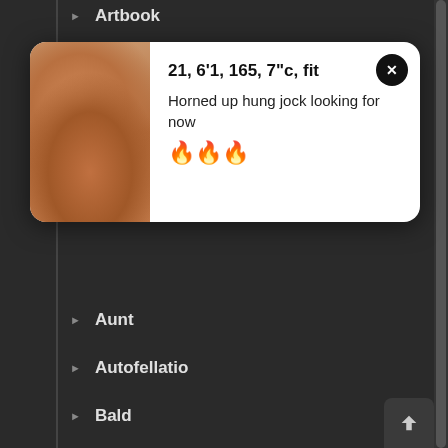Artbook
[Figure (photo): Popup card showing a photo of a person's body with profile text: '21, 6'1, 165, 7"c, fit — Horned up hung jock looking for now 🔥🔥🔥']
Aunt
Autofellatio
Bald
Ball Sucking
BBM / Fat Guy
BBW / Chubby / Fat Woman
BDSM
Bear
Bear Boy